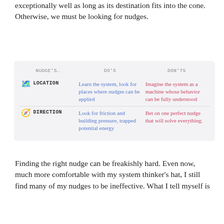exceptionally well as long as its destination fits into the cone. Otherwise, we must be looking for nudges.
| Nudge's... | Do's | Don'ts |
| --- | --- | --- |
| LOCATION | Learn the system, look for places where nudges can be applied | Imagine the system as a machine whose behavior can be fully understood |
| DIRECTION | Look for friction and building pressure, trapped potential energy | Bet on one perfect nudge that will solve everything. |
Finding the right nudge can be freakishly hard. Even now, much more comfortable with my system thinker's hat, I still find many of my nudges to be ineffective. What I tell myself is